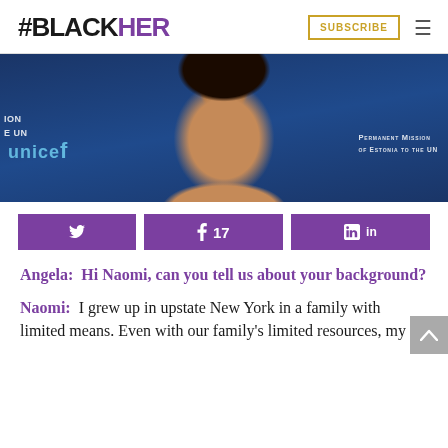#BLACKHER  SUBSCRIBE  ≡
[Figure (photo): Woman smiling at a UNICEF event with 'Permanent Mission of Estonia to the UN' signage visible in the background]
[Figure (infographic): Social share buttons: Twitter, Facebook (17 shares), LinkedIn — all in purple]
Angela:  Hi Naomi, can you tell us about your background?
Naomi:  I grew up in upstate New York in a family with limited means. Even with our family's limited resources, my